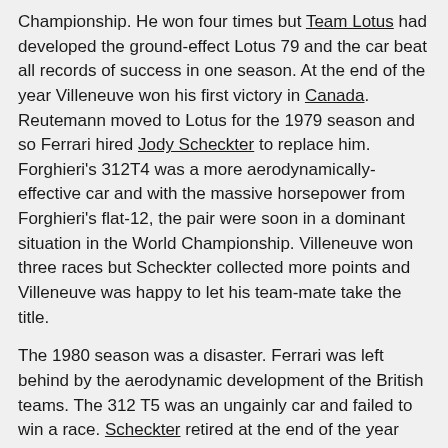Championship. He won four times but Team Lotus had developed the ground-effect Lotus 79 and the car beat all records of success in one season. At the end of the year Villeneuve won his first victory in Canada. Reutemann moved to Lotus for the 1979 season and so Ferrari hired Jody Scheckter to replace him. Forghieri's 312T4 was a more aerodynamically-effective car and with the massive horsepower from Forghieri's flat-12, the pair were soon in a dominant situation in the World Championship. Villeneuve won three races but Scheckter collected more points and Villeneuve was happy to let his team-mate take the title.
The 1980 season was a disaster. Ferrari was left behind by the aerodynamic development of the British teams. The 312 T5 was an ungainly car and failed to win a race. Scheckter retired at the end of the year and Ferrari hired a rising French star called Didier Pironi. The team developed a new 1.5-liter turbocharged engine and the new car was designated the 126C.
Ferrari had fallen way behind the British teams in chassis technology but the engine was remarkable and that year Villeneuve scored two memorable victories in